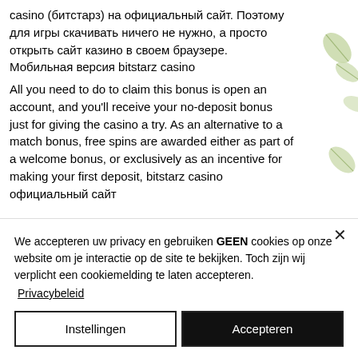casino (битстарз) на официальный сайт. Поэтому для игры скачивать ничего не нужно, а просто открыть сайт казино в своем браузере. Мобильная версия bitstarz casino
All you need to do to claim this bonus is open an account, and you'll receive your no-deposit bonus just for giving the casino a try. As an alternative to a match bonus, free spins are awarded either as part of a welcome bonus, or exclusively as an incentive for making your first deposit, bitstarz casino официальный сайт
We accepteren uw privacy en gebruiken GEEN cookies op onze website om je interactie op de site te bekijken. Toch zijn wij verplicht een cookiemelding te laten accepteren.
Privacybeleid
Instellingen
Accepteren